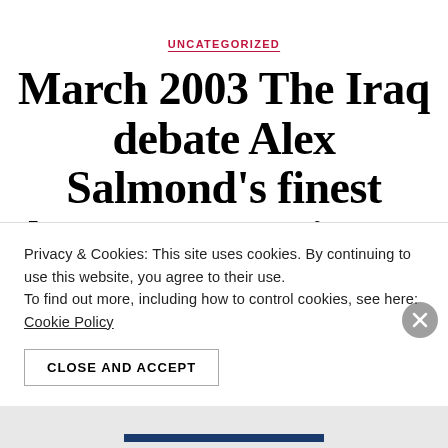UNCATEGORIZED
March 2003 The Iraq debate Alex Salmond's finest hour at Westminster exposed the sanctimonious arguments of Blair who
Privacy & Cookies: This site uses cookies. By continuing to use this website, you agree to their use.
To find out more, including how to control cookies, see here:
Cookie Policy
CLOSE AND ACCEPT